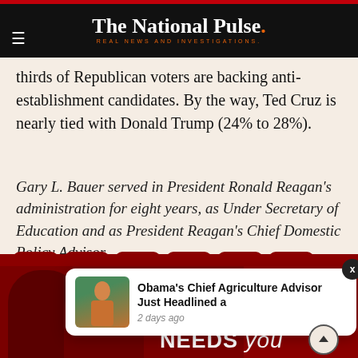The National Pulse. REAL NEWS AND INVESTIGATIONS.
thirds of Republican voters are backing anti-establishment candidates. By the way, Ted Cruz is nearly tied with Donald Trump (24% to 28%).
Gary L. Bauer served in President Ronald Reagan's administration for eight years, as Under Secretary of Education and as President Reagan's Chief Domestic Policy Advisor.
[Figure (infographic): Row of six dark red social sharing buttons: Twitter, Truth Social (torch icon), Gab, Telegram, Facebook, WhatsApp]
[Figure (infographic): Bottom promo strip showing The National Pulse branding with two people and NEEDS you text, overlaid by a notification popup reading Obama's Chief Agriculture Advisor Just Headlined a, 2 days ago, with a photo of a man in orange jacket]